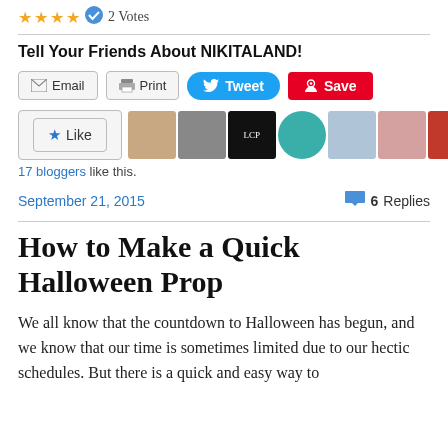★★★★ ✔ 2 Votes
Tell Your Friends About NIKITALAND!
[Figure (screenshot): Social share buttons: Email, Print, Tweet, Save]
[Figure (screenshot): Like button and 11 blogger avatar thumbnails]
17 bloggers like this.
September 21, 2015    💬 6 Replies
How to Make a Quick Halloween Prop
We all know that the countdown to Halloween has begun, and we know that our time is sometimes limited due to our hectic schedules. But there is a quick and easy way to